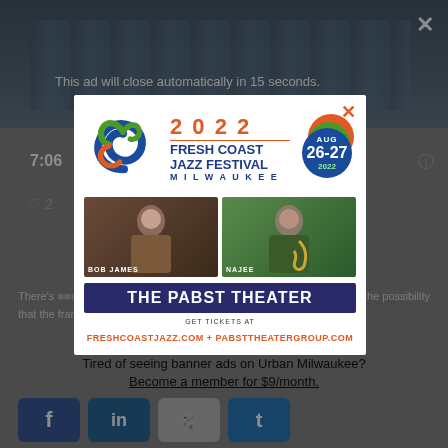[Figure (screenshot): Background webpage with blurred content showing video player, timestamp 7:06, and article text about NBA franchise]
This ad will close automatically in 15 seconds.
[Figure (infographic): 2022 Fresh Coast Jazz Festival advertisement. Blue/green swirl logo. Text: 2022 FRESH COAST JAZZ FESTIVAL MILWAUKEE. Date badge: AUG 26-27 2022. Photos of BOB JAMES and NAJEE. THE PABST THEATER. GET TICKETS AT FRESHCOASTJAZZ.COM + PABSTTHEATERGROUP.COM]
Tired of seeing banner ads on Urban Milwaukee?
Become a member for $9/month.